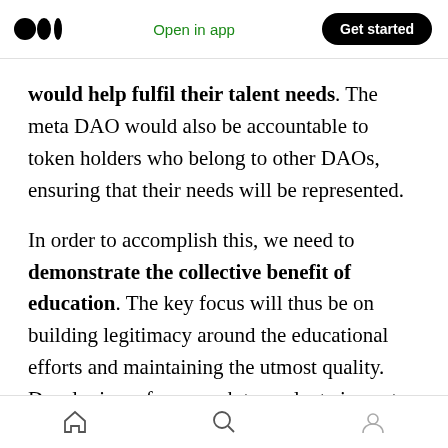Open in app | Get started
would help fulfil their talent needs. The meta DAO would also be accountable to token holders who belong to other DAOs, ensuring that their needs will be represented.

In order to accomplish this, we need to demonstrate the collective benefit of education. The key focus will thus be on building legitimacy around the educational efforts and maintaining the utmost quality. Developing a framework to evaluate impact (much like Google's report on vOps Transformation) is also paramount. These
home | search | profile